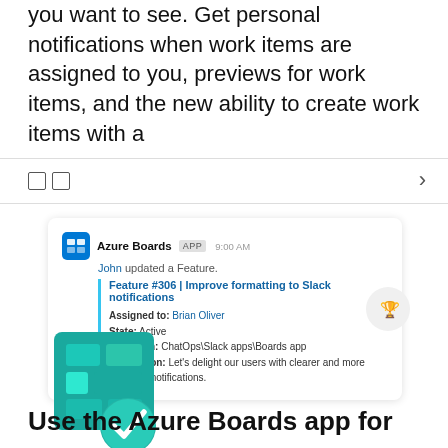you want to see. Get personal notifications when work items are assigned to you, previews for work items, and the new ability to create work items with a
[Figure (screenshot): Navigation bar with two small square icons on the left and a right chevron arrow on the right, with top and bottom border lines]
[Figure (screenshot): Slack notification card from Azure Boards APP at 9:00 AM. John updated a Feature. Feature #306 | Improve formatting to Slack notifications. Assigned to: Brian Oliver. State: Active. Area path: ChatOps\Slack apps\Boards app. Discussion: Let's delight our users with clearer and more readable notifications. A trophy icon in a gray circle appears on the right.]
[Figure (illustration): Azure Boards app logo: a teal/green grid table icon with a teal checkmark circle badge in the lower right corner]
Use the Azure Boards app for